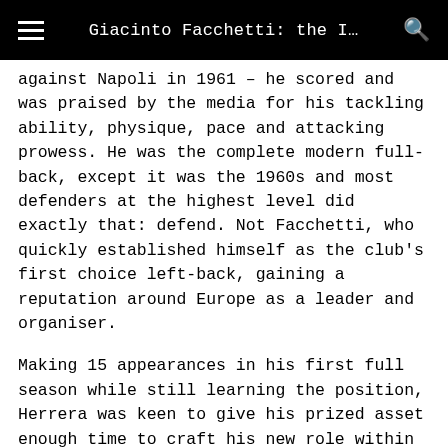Giacinto Facchetti: the I…
against Napoli in 1961 – he scored and was praised by the media for his tackling ability, physique, pace and attacking prowess. He was the complete modern full-back, except it was the 1960s and most defenders at the highest level did exactly that: defend. Not Facchetti, who quickly established himself as the club's first choice left-back, gaining a reputation around Europe as a leader and organiser.
Making 15 appearances in his first full season while still learning the position, Herrera was keen to give his prized asset enough time to craft his new role within the Inter system. It was a ploy that worked supremely